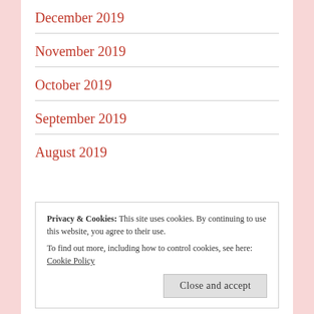December 2019
November 2019
October 2019
September 2019
August 2019
Privacy & Cookies: This site uses cookies. By continuing to use this website, you agree to their use. To find out more, including how to control cookies, see here: Cookie Policy